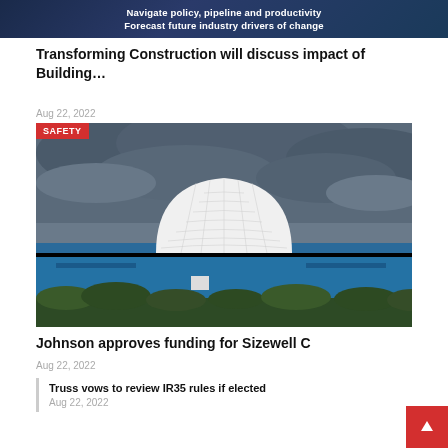[Figure (photo): Dark blue banner with white bold text: 'Navigate policy, pipeline and productivity / Forecast future industry drivers of change']
Transforming Construction will discuss impact of Building…
Aug 22, 2022
[Figure (photo): Photograph of a nuclear power station with a large white dome structure, blue rectangular buildings in the foreground, and dark cloudy sky. A red 'SAFETY' badge is overlaid on the top-left corner of the image.]
Johnson approves funding for Sizewell C
Aug 22, 2022
Truss vows to review IR35 rules if elected
Aug 22, 2022